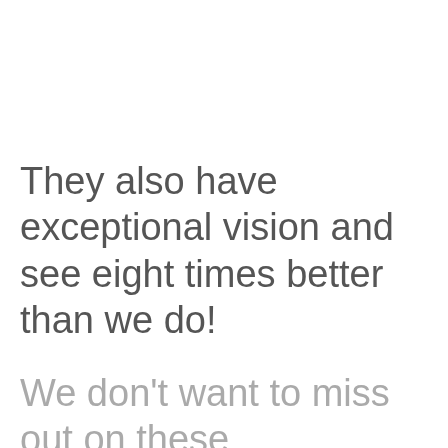They also have exceptional vision and see eight times better than we do!
We don't want to miss out on these magnificent birds so we have created a printable hawk